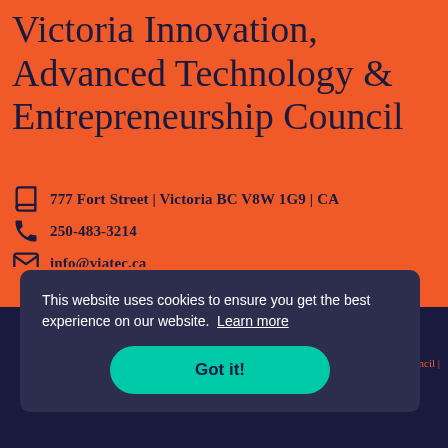Victoria Innovation, Advanced Technology & Entrepreneurship Council
777 Fort Street | Victoria BC V8W 1G9 | CA
250-483-3214
info@viatec.ca
[Figure (other): Social media icons row partially visible]
This website uses cookies to ensure you get the best experience on our website. Learn more
Got it!
Council |